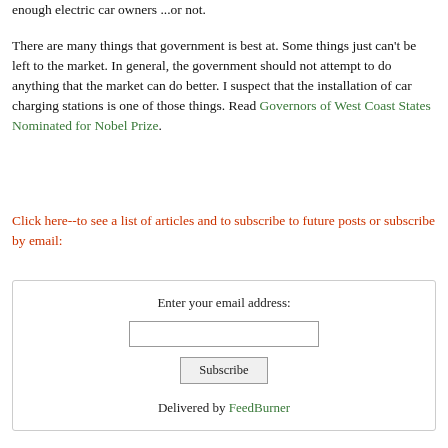enough electric car owners ...or not.
There are many things that government is best at. Some things just can't be left to the market. In general, the government should not attempt to do anything that the market can do better. I suspect that the installation of car charging stations is one of those things. Read Governors of West Coast States Nominated for Nobel Prize.
Click here--to see a list of articles and to subscribe to future posts or subscribe by email:
Enter your email address:
[email input]
Subscribe
Delivered by FeedBurner